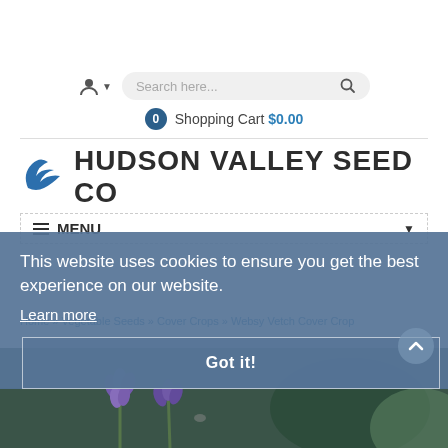[Figure (screenshot): Website header with user icon, search bar, shopping cart showing $0.00, Hudson Valley Seed Co logo, navigation menu bar, cookie consent overlay with 'Got it!' button, breadcrumb navigation, and bottom flower image]
Search here...
0  Shopping Cart $0.00
HUDSON VALLEY SEED CO
MENU
This website uses cookies to ensure you get the best experience on our website.
Learn more
Got it!
Home » Vegetable Seeds » Cover Crops » Websy Vetch Cover Crop